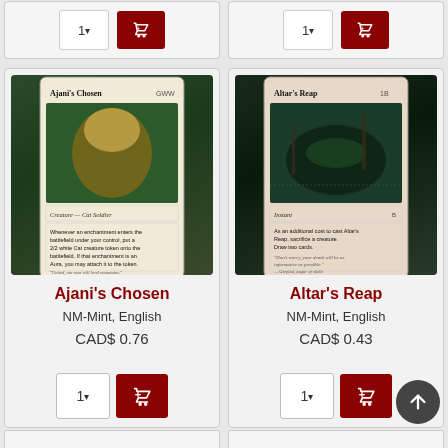[Figure (screenshot): Partial product card top strip showing quantity input and red add-to-cart button, two columns]
[Figure (photo): Magic: The Gathering card - Ajani's Chosen, Creature - Cat Soldier]
Ajani's Chosen
NM-Mint, English
CAD$ 0.76
[Figure (photo): Magic: The Gathering card - Altar's Reap, Instant]
Altar's Reap
NM-Mint, English
CAD$ 0.43
[Figure (screenshot): Partial bottom product cards row, two columns, partially visible]